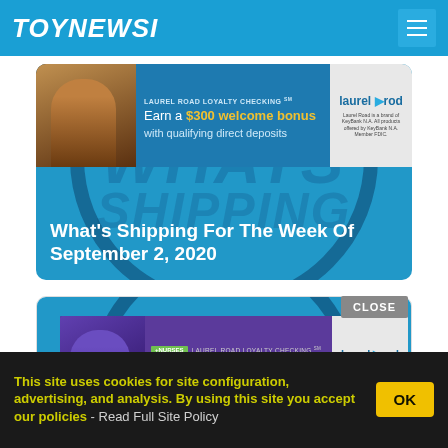TOYNEWSI
[Figure (screenshot): Advertisement banner: Laurel Road Loyalty Checking SM - Earn a $300 welcome bonus with qualifying direct deposits. Laurel Road logo on right.]
What's Shipping For The Week Of September 2, 2020
[Figure (screenshot): Second article card showing circle watermark background with blue header area]
[Figure (screenshot): CLOSE button overlay on second card]
[Figure (screenshot): Advertisement banner: +NURSES LAUREL ROAD LOYALTY CHECKING SM - The only checking rewards that pay you when you get paid. Laurel Road logo.]
What's Shipping For The Week Of August 20, 2020
This site uses cookies for site configuration, advertising, and analysis. By using this site you accept our policies - Read Full Site Policy OK